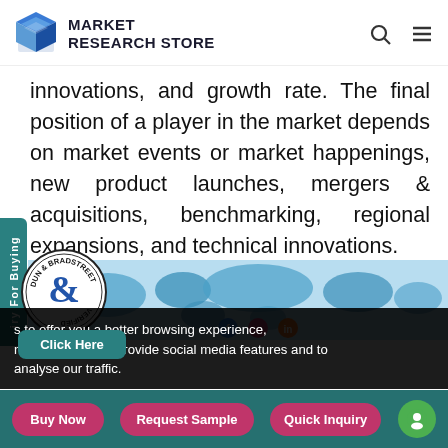MARKET RESEARCH STORE
innovations, and growth rate. The final position of a player in the market depends on market events or market happenings, new product launches, mergers & acquisitions, benchmarking, regional expansions, and technical innovations.
[Figure (logo): Dun & Bradstreet circular badge logo with 'Click Here' button]
[Figure (map): World map banner image]
s to offer you a better browsing experience, ntent and ads, to provide social media features and to analyse our traffic.
Buy Now | Request Sample | Quick Inquiry